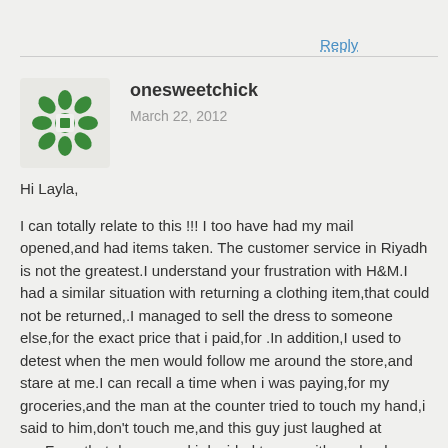Reply
[Figure (illustration): Green decorative avatar icon with floral/snowflake pattern]
onesweetchick
March 22, 2012
Hi Layla,

I can totally relate to this !!! I too have had my mail opened,and had items taken.
The customer service in Riyadh is not the greatest.I understand your frustration with H&M.I had a similar situation with returning a clothing item,that could not be returned,.I managed to sell the dress to someone else,for the exact price that i paid,for .In addition,I used to detest when the men would follow me around the store,and stare at me.I can recall a time when i was paying,for my groceries,and the man at the counter tried to touch my hand,i said to him,don't touch me,and this guy just laughed at me.From that day onward i decided to pay with my bank card,or lay the cash on the counter.

I have had men walk by me,and drop a piece of